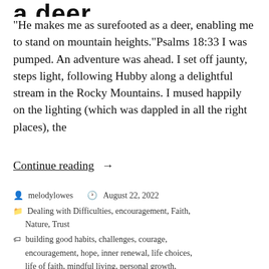a deer...
“He makes me as surefooted as a deer, enabling me to stand on mountain heights.”Psalms 18:33  I was pumped. An adventure was ahead. I set off jaunty, steps light, following Hubby along a delightful stream in the Rocky Mountains. I mused happily on the lighting (which was dappled in all the right places), the
Continue reading →
melodylowes   August 22, 2022
Dealing with Difficulties, encouragement, Faith, Nature, Trust
building good habits, challenges, courage, encouragement, hope, inner renewal, life choices, life of faith, mindful living, personal growth,